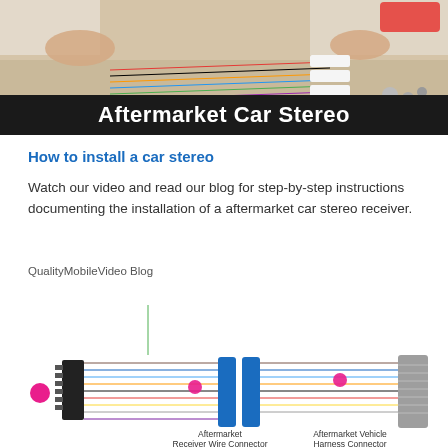[Figure (photo): Photo of hands working with colorful car stereo wiring and connectors on a table]
Aftermarket Car Stereo
How to install a car stereo
Watch our video and read our blog for step-by-step instructions documenting the installation of a aftermarket car stereo receiver.
QualityMobileVideo Blog
[Figure (schematic): Wiring diagram showing Aftermarket Receiver Wire Connector connected to Aftermarket Vehicle Harness Connector with multiple colored wires (brown, blue, orange, black, red, yellow, green, purple, pink) joined via blue block connectors. Labels: 'Aftermarket Receiver Wire Connector' and 'Aftermarket Vehicle Harness Connector'.]